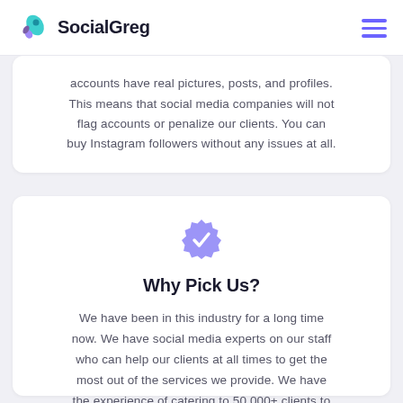SocialGreg
accounts have real pictures, posts, and profiles. This means that social media companies will not flag accounts or penalize our clients. You can buy Instagram followers without any issues at all.
[Figure (illustration): Blue/purple verified badge icon with white checkmark]
Why Pick Us?
We have been in this industry for a long time now. We have social media experts on our staff who can help our clients at all times to get the most out of the services we provide. We have the experience of catering to 50,000+ clients to